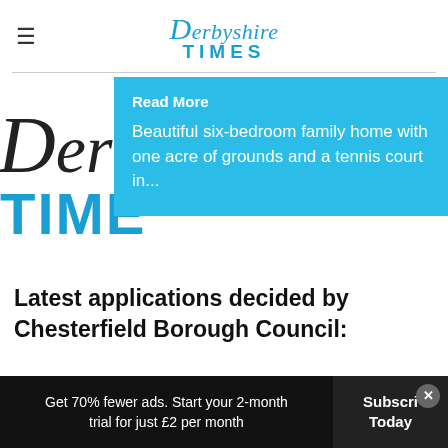Derbyshire Times
[Figure (logo): Partial Derbyshire Times masthead logo, large background version]
Read More
Beautiful six-bedroom family home with one acre of grounds and a tennis court in...
Latest applications decided by Chesterfield Borough Council:
3 Cheste...
Get 70% fewer ads. Start your 2-month trial for just £2 per month  |  Subscribe Today